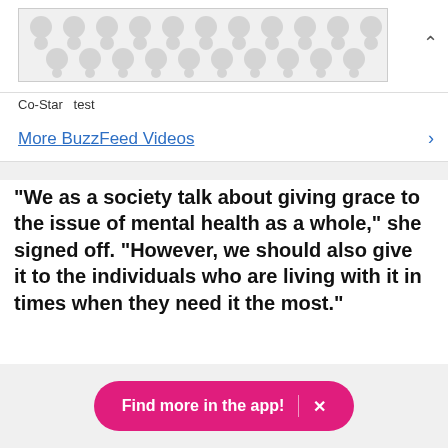[Figure (other): Advertisement banner with repeating dot/circle pattern on light gray background]
Co-Star  test
More BuzzFeed Videos
"We as a society talk about giving grace to the issue of mental health as a whole," she signed off. "However, we should also give it to the individuals who are living with it in times when they need it the most."
Find more in the app!  ×